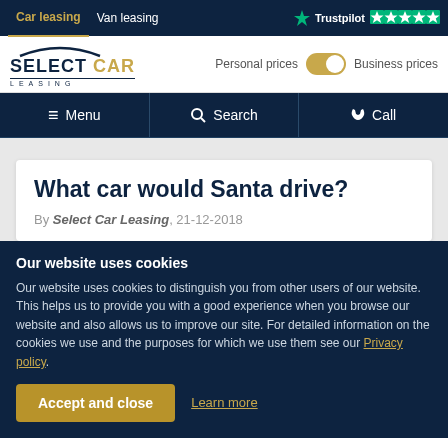Car leasing | Van leasing | Trustpilot ★★★★★
[Figure (logo): Select Car Leasing logo with arc above text]
Personal prices | Business prices toggle
Menu | Search | Call
What car would Santa drive?
By Select Car Leasing, 21-12-2018
Our website uses cookies
Our website uses cookies to distinguish you from other users of our website. This helps us to provide you with a good experience when you browse our website and also allows us to improve our site. For detailed information on the cookies we use and the purposes for which we use them see our Privacy policy.
Accept and close | Learn more